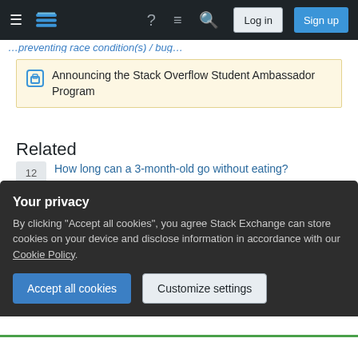Stack Exchange navigation bar with Log in and Sign up buttons
Announcing the Stack Overflow Student Ambassador Program
Related
12 — How long can a 3-month-old go without eating?
2 — How can I get an 11-month-old I care for during the day to take a nap?
8 — How to explain your absence to 4 year old
1 — Extremely difficult 11 month old baby
Your privacy
By clicking "Accept all cookies", you agree Stack Exchange can store cookies on your device and disclose information in accordance with our Cookie Policy.
Accept all cookies   Customize settings